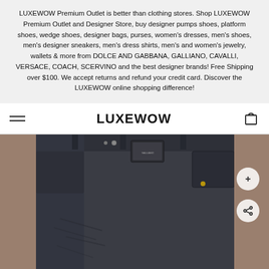LUXEWOW Premium Outlet is better than clothing stores. Shop LUXEWOW Premium Outlet and Designer Store, buy designer pumps shoes, platform shoes, wedge shoes, designer bags, purses, women's dresses, men's shoes, men's designer sneakers, men's dress shirts, men's and women's jewelry, wallets & more from DOLCE AND GABBANA, GALLIANO, CAVALLI, VERSACE, COACH, SCERVINO and the best designer brands! Free Shipping over $100. We accept returns and refund your credit card. Discover the LUXEWOW online shopping difference!
LUXEWOW
[Figure (photo): Close-up photo of the back of dark navy/black denim jeans worn by a person, showing the back pockets, waistband, and a small brand tag. The jeans appear to have a slightly distressed texture.]